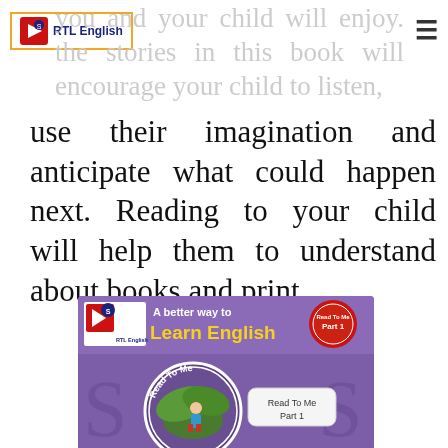RTL English
you and your child will enjoy. the stories in this book will encourage your child to listen,
use their imagination and anticipate what could happen next. Reading to your child will help them to understand about books and print.
[Figure (illustration): RTL English book cover: 'A better way to Learn English - Read To Me Part 1' with a purple background, logo, circular badge with a child reading under large leaves, and a label box saying Read To Me Part 1]